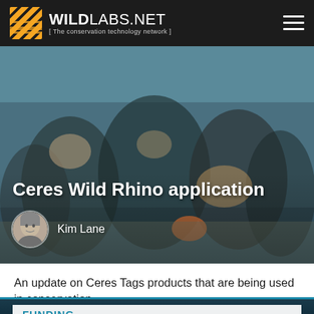WILDLABS.NET [ The conservation technology network ]
[Figure (photo): People working together outdoors, appearing to examine documents or equipment related to rhino conservation. Dark-toned photo with multiple individuals visible from above.]
Ceres Wild Rhino application
Kim Lane
An update on Ceres Tags products that are being used in conservation
22 August 2022
♡ 1
FUNDING